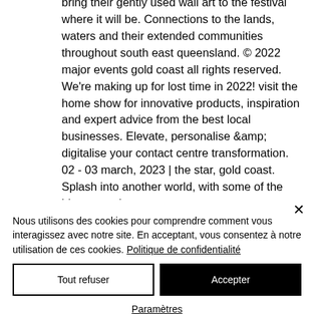bring their gently used wall art to the festival where it will be. Connections to the lands, waters and their extended communities throughout south east queensland. © 2022 major events gold coast all rights reserved. We're making up for lost time in 2022! visit the home show for innovative products, inspiration and expert advice from the best local businesses. Elevate, personalise &amp; digitalise your contact centre transformation. 02 - 03 march, 2023 | the star, gold coast. Splash into another world, with some of the biggest and most extreme
Nous utilisons des cookies pour comprendre comment vous interagissez avec notre site. En acceptant, vous consentez à notre utilisation de ces cookies. Politique de confidentialité
Tout refuser
Accepter
Paramètres